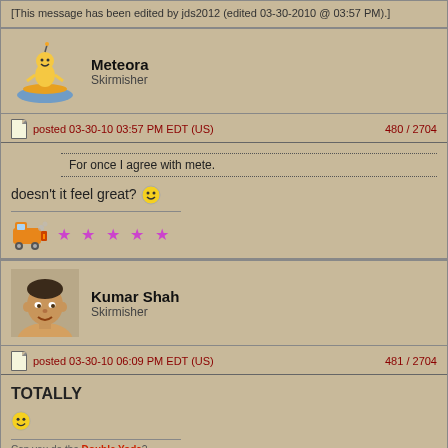[This message has been edited by jds2012 (edited 03-30-2010 @ 03:57 PM).]
Meteora
Skirmisher
posted 03-30-10 03:57 PM EDT (US)   480 / 2704
For once I agree with mete.
doesn't it feel great?
Kumar Shah
Skirmisher
posted 03-30-10 06:09 PM EDT (US)   481 / 2704
TOTALLY
Can you do the Double Yoda?
A sexual move, where you do a double backflip, insert your penis into the orifice of choice, and scream, "Afraid are you?"
Shrink
on the bandas train